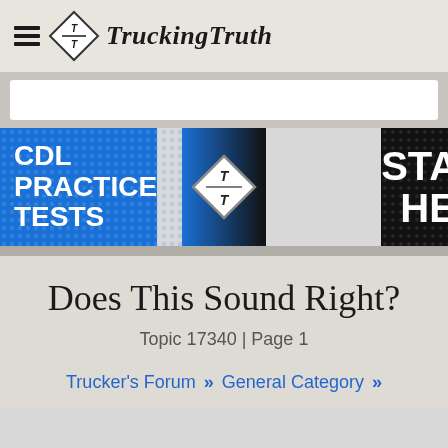TruckingTruth
[Figure (screenshot): CDL Practice Tests banner ad with blue dot-pattern left side and black dot-pattern right side, TT logo diamond in center, text reads CDL PRACTICE TESTS on left and START HERE on right]
Does This Sound Right?
Topic 17340 | Page 1
Trucker's Forum >> General Category >>